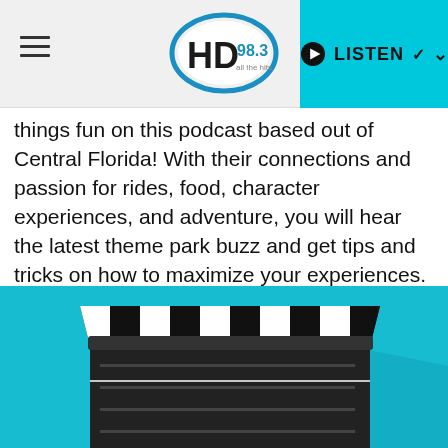HD 98.3 — LISTEN
things fun on this podcast based out of Central Florida! With their connections and passion for rides, food, character experiences, and adventure, you will hear the latest theme park buzz and get tips and tricks on how to maximize your experiences. New episodes are available every Thursday!
Play Latest (August 25th)
225 EPISODES
[Figure (illustration): Movie/film clapperboard illustration on a cyan/teal background, showing a black and white striped clapper board]